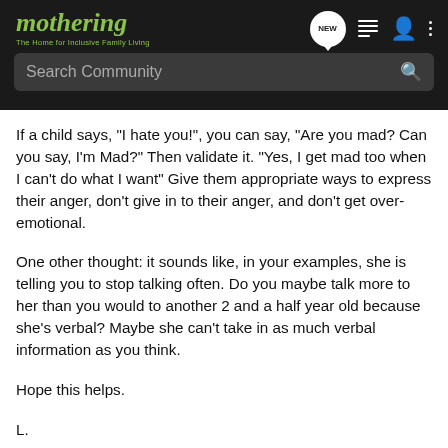mothering — The Home for Inclusive Family Living
If a child says, "I hate you!", you can say, "Are you mad? Can you say, I'm Mad?" Then validate it. "Yes, I get mad too when I can't do what I want" Give them appropriate ways to express their anger, don't give in to their anger, and don't get over-emotional.
One other thought: it sounds like, in your examples, she is telling you to stop talking often. Do you maybe talk more to her than you would to another 2 and a half year old because she's verbal? Maybe she can't take in as much verbal information as you think.
Hope this helps.
L.